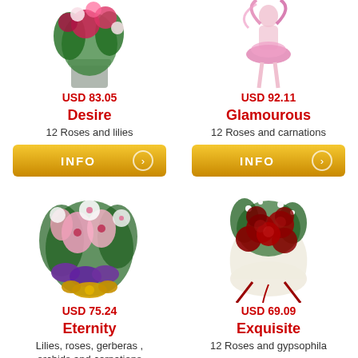[Figure (photo): Flower bouquet with roses and lilies in a vase, partially cropped at top]
USD 83.05
Desire
12 Roses and lilies
[Figure (other): INFO button with circle arrow icon, gold/yellow background]
[Figure (photo): Ballerina or figure with pink ribbon, partially cropped at top]
USD 92.11
Glamourous
12 Roses and carnations
[Figure (other): INFO button with circle arrow icon, gold/yellow background]
[Figure (photo): Large mixed flower arrangement with pink lilies, roses, orchids, gerberas, and carnations with gold bow]
USD 75.24
Eternity
Lilies, roses, gerberas , orchids and carnations
[Figure (other): INFO button with circle arrow icon, gold/yellow background]
[Figure (photo): Bouquet of 12 dark red roses with white wrapping and gypsophila]
USD 69.09
Exquisite
12 Roses and gypsophila
[Figure (other): INFO button with circle arrow icon, gold/yellow background]